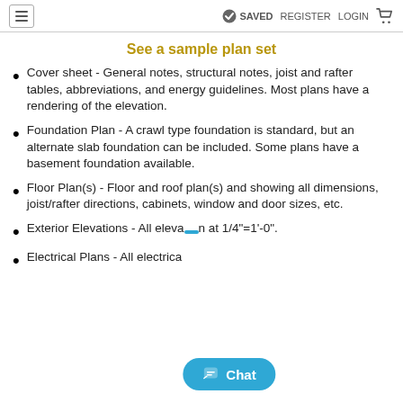≡  ✔ SAVED  REGISTER  LOGIN  🛒
See a sample plan set
Cover sheet - General notes, structural notes, joist and rafter tables, abbreviations, and energy guidelines. Most plans have a rendering of the elevation.
Foundation Plan - A crawl type foundation is standard, but an alternate slab foundation can be included. Some plans have a basement foundation available.
Floor Plan(s) - Floor and roof plan(s) and showing all dimensions, joist/rafter directions, cabinets, window and door sizes, etc.
Exterior Elevations - All eleva… at 1/4"=1'-0".
Electrical Plans - All electrica… eparate